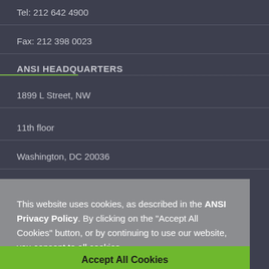Tel: 212 642 4900
Fax: 212 398 0023
ANSI HEADQUARTERS
1899 L Street, NW
11th floor
Washington, DC 20036
This website uses cookies, as described in the ANSI Privacy Policy. By clicking on the "Accept All Cookies" button, or by continuing to use our website, you consent to all cookies.
Accept All Cookies